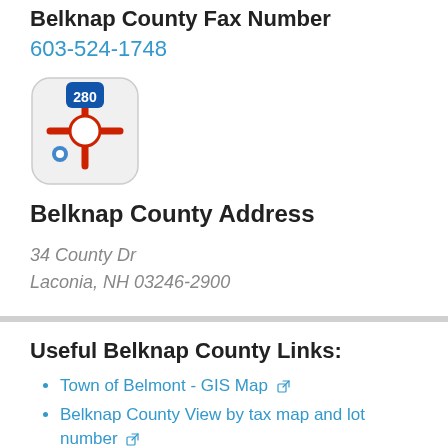Belknap County Fax Number
603-524-1748
[Figure (photo): Map application icon showing a road map with highway 280 sign and a location pin]
Belknap County Address
34 County Dr
Laconia, NH 03246-2900
Useful Belknap County Links:
Town of Belmont - GIS Map
Belknap County View by tax map and lot number
Belknap County View by owner name
Belknap County View by map and lot
Town of New Hampton - Tax Maps